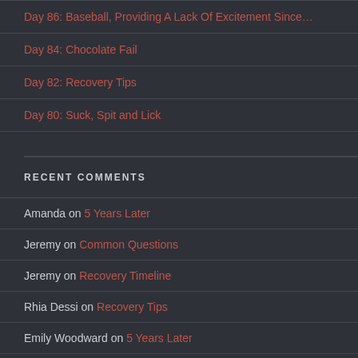Day 86: Baseball, Providing A Lack Of Excitement Since…
Day 84: Chocolate Fail
Day 82: Recovery Tips
Day 80: Suck, Spit and Lick
RECENT COMMENTS
Amanda on 5 Years Later
Jeremy on Common Questions
Jeremy on Recovery Timeline
Rhia Dessi on Recovery Tips
Emily Woodward on 5 Years Later